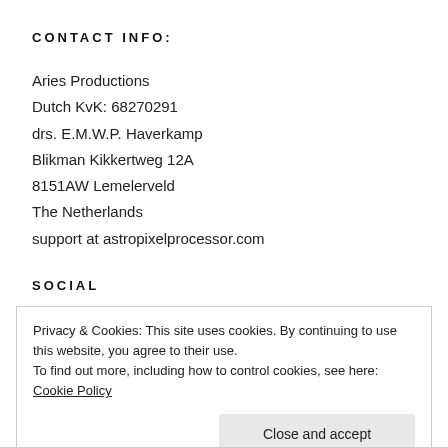CONTACT INFO:
Aries Productions
Dutch KvK: 68270291
drs. E.M.W.P. Haverkamp
Blikman Kikkertweg 12A
8151AW Lemelerveld
The Netherlands
support at astropixelprocessor.com
SOCIAL
Privacy & Cookies: This site uses cookies. By continuing to use this website, you agree to their use.
To find out more, including how to control cookies, see here: Cookie Policy